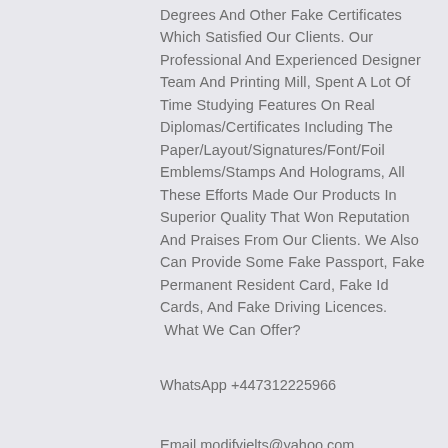Degrees And Other Fake Certificates Which Satisfied Our Clients. Our Professional And Experienced Designer Team And Printing Mill, Spent A Lot Of Time Studying Features On Real Diplomas/Certificates Including The Paper/Layout/Signatures/Font/Foil Emblems/Stamps And Holograms, All These Efforts Made Our Products In Superior Quality That Won Reputation And Praises From Our Clients. We Also Can Provide Some Fake Passport, Fake Permanent Resident Card, Fake Id Cards, And Fake Driving Licences. What We Can Offer?
WhatsApp +447312225966
Email modifyielts@yahoo.com
Skype  ielts . bc